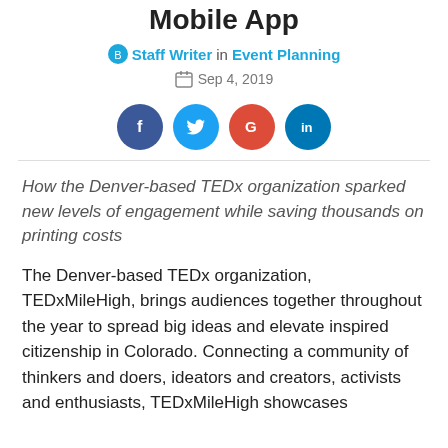Mobile App
Staff Writer in Event Planning
Sep 4, 2019
[Figure (infographic): Four social media share buttons: Facebook (dark blue), Twitter (light blue), Google+ (red), LinkedIn (dark teal)]
How the Denver-based TEDx organization sparked new levels of engagement while saving thousands on printing costs
The Denver-based TEDx organization, TEDxMileHigh, brings audiences together throughout the year to spread big ideas and elevate inspired citizenship in Colorado. Connecting a community of thinkers and doers, ideators and creators, activists and enthusiasts, TEDxMileHigh showcases